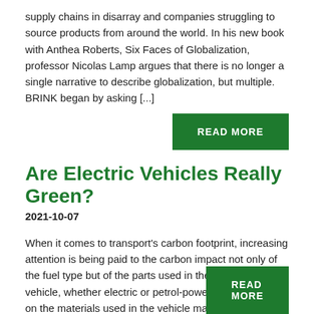supply chains in disarray and companies struggling to source products from around the world. In his new book with Anthea Roberts, Six Faces of Globalization, professor Nicolas Lamp argues that there is no longer a single narrative to describe globalization, but multiple. BRINK began by asking [...]
READ MORE
Are Electric Vehicles Really Green?
2021-10-07
When it comes to transport's carbon footprint, increasing attention is being paid to the carbon impact not only of the fuel type but of the parts used in the assembly of a vehicle, whether electric or petrol-powered. A new report on the materials used in the vehicle manufacture by the Brussels-based Transport & Environment think [...]
READ MORE